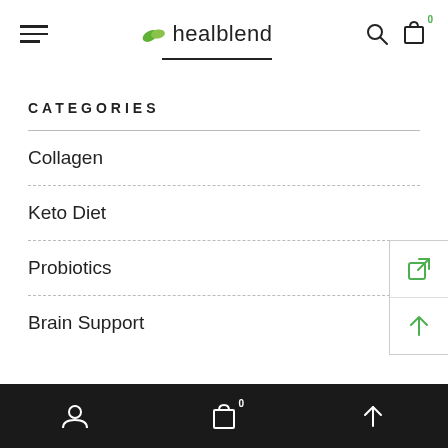healblend — navigation header with hamburger menu, logo, search and cart icons
CATEGORIES
Collagen
Keto Diet
Probiotics
Brain Support
Bottom navigation bar with profile, cart (0), and up arrow icons